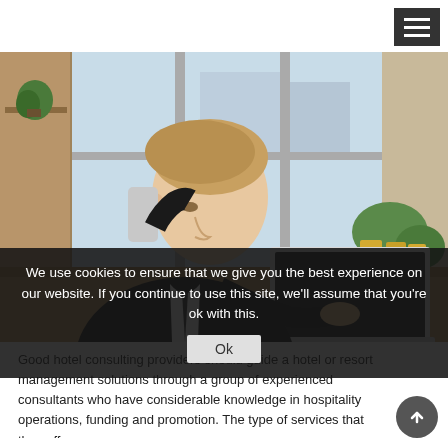[Figure (photo): A businessman in a dark suit sitting at a wooden desk, holding a smartphone to his ear while typing on a laptop. A white coffee cup is on the desk. Office background with large windows and plants.]
We use cookies to ensure that we give you the best experience on our website. If you continue to use this site, we'll assume that you're ok with this.
Good hotel consulting providers should guide a hotel or resort management solutions through a group of experienced consultants who have considerable knowledge in hospitality operations, funding and promotion. The type of services that they offer ranges